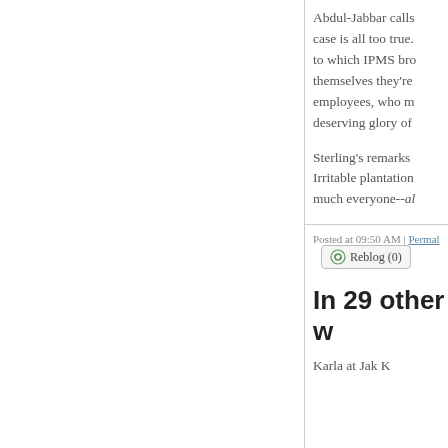Abdul-Jabbar calls case is all too true. to which IPMS bro themselves they're employees, who m deserving glory of
Sterling's remarks Irritable plantation much everyone--al
Posted at 09:50 AM | Permal Reblog (0)
In 29 other w
Karla at Jak K